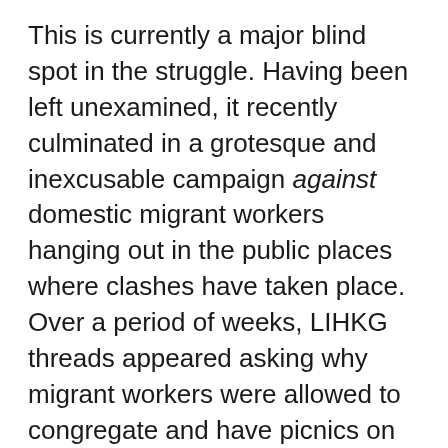This is currently a major blind spot in the struggle. Having been left unexamined, it recently culminated in a grotesque and inexcusable campaign against domestic migrant workers hanging out in the public places where clashes have taken place. Over a period of weeks, LIHKG threads appeared asking why migrant workers were allowed to congregate and have picnics on the street while protesters were arrested and tortured for participating in “illegal assemblies.” Their tongue-and-cheek tone did not conceal the repulsive implications of their content. Why the double standard, these posters asked—shouldn’t we force these nonchalant, karaoke-singing aunties, enjoying themselves while protesters feared for their skins, to understand what kind of city they were living in? Why were we being